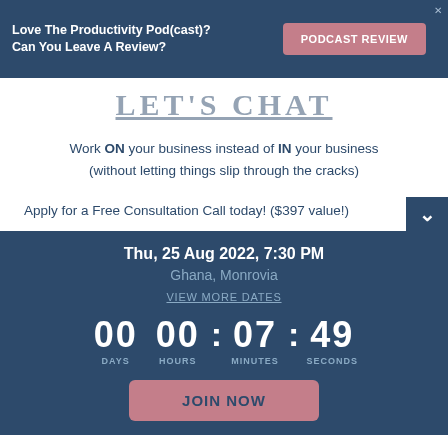Love The Productivity Pod(cast)? Can You Leave A Review?
PODCAST REVIEW
LET'S CHAT
Work ON your business instead of IN your business (without letting things slip through the cracks)
Apply for a Free Consultation Call today! ($397 value!)
Thu, 25 Aug 2022, 7:30 PM
Ghana, Monrovia
VIEW MORE DATES
00 DAYS  00 : 07 : 49  HOURS MINUTES SECONDS
JOIN NOW